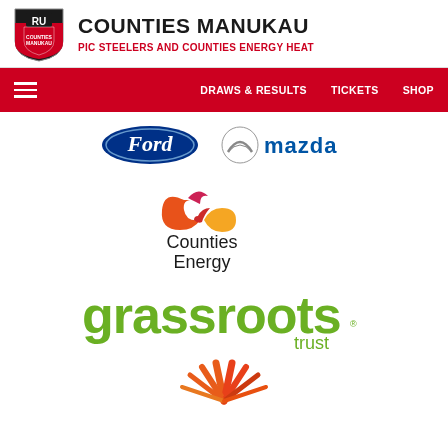[Figure (logo): Counties Manukau Rugby Union shield crest logo with RU initials]
COUNTIES MANUKAU
PIC STEELERS AND COUNTIES ENERGY HEAT
DRAWS & RESULTS   TICKETS   SHOP
[Figure (logo): Ford oval blue logo]
[Figure (logo): Mazda logo with stylized M and mazda text in blue]
[Figure (logo): Counties Energy logo with infinity flame symbol and Counties Energy text]
[Figure (logo): Grassroots Trust logo in green text]
[Figure (logo): Partial logo at bottom of page - orange/red sunburst design]